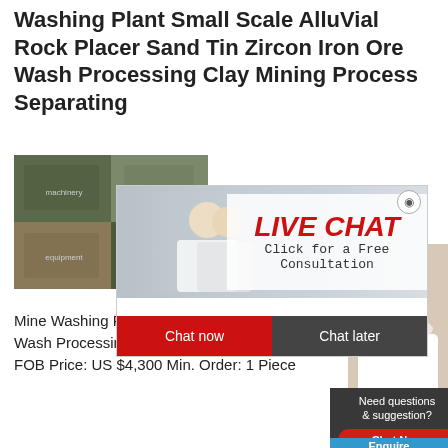Washing Plant Small Scale AlluVial Rock Placer Sand Tin Zircon Iron Ore Wash Processing Clay Mining Process Separating
[Figure (photo): Industrial mining washing plant equipment photos collage]
[Figure (screenshot): Live chat popup overlay with 'LIVE CHAT' heading in red italic, 'Click for a Free Consultation' subtitle, Chat now (red) and Chat later (dark) buttons, and a close button]
[Figure (photo): Customer service agent woman wearing headset, smiling]
Mine Washing Plant Small Scale Alluvial Tin Ore Wash Processing Clay Mining Pr Spiral Price 5% off FOB Price: US $4,300 Min. Order: 1 Piece
[Figure (screenshot): Need questions & suggestion? Chat Now button box and Enquire button]